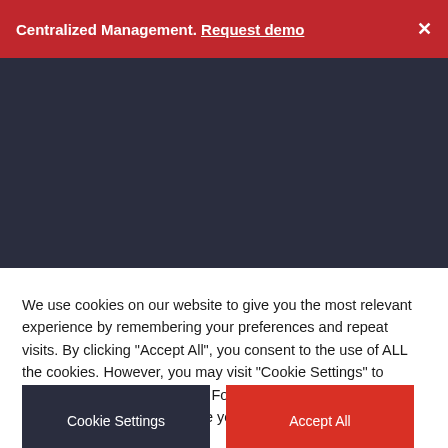Centralized Management. Request demo ×
[Figure (screenshot): Dark navy/dark blue-grey rectangular banner area, solid color background approximately 210px tall]
We use cookies on our website to give you the most relevant experience by remembering your preferences and repeat visits. By clicking "Accept All", you consent to the use of ALL the cookies. However, you may visit "Cookie Settings" to provide a controlled consent. For more information about the use of cookies on our website you can review our Cookies Policy.
Cookie Settings
Accept All